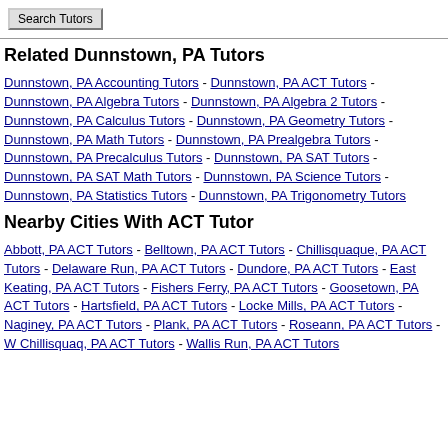Search Tutors
Related Dunnstown, PA Tutors
Dunnstown, PA Accounting Tutors - Dunnstown, PA ACT Tutors - Dunnstown, PA Algebra Tutors - Dunnstown, PA Algebra 2 Tutors - Dunnstown, PA Calculus Tutors - Dunnstown, PA Geometry Tutors - Dunnstown, PA Math Tutors - Dunnstown, PA Prealgebra Tutors - Dunnstown, PA Precalculus Tutors - Dunnstown, PA SAT Tutors - Dunnstown, PA SAT Math Tutors - Dunnstown, PA Science Tutors - Dunnstown, PA Statistics Tutors - Dunnstown, PA Trigonometry Tutors
Nearby Cities With ACT Tutor
Abbott, PA ACT Tutors - Belltown, PA ACT Tutors - Chillisquaque, PA ACT Tutors - Delaware Run, PA ACT Tutors - Dundore, PA ACT Tutors - East Keating, PA ACT Tutors - Fishers Ferry, PA ACT Tutors - Goosetown, PA ACT Tutors - Hartsfield, PA ACT Tutors - Locke Mills, PA ACT Tutors - Naginey, PA ACT Tutors - Plank, PA ACT Tutors - Roseann, PA ACT Tutors - W Chillisquaq, PA ACT Tutors - Wallis Run, PA ACT Tutors